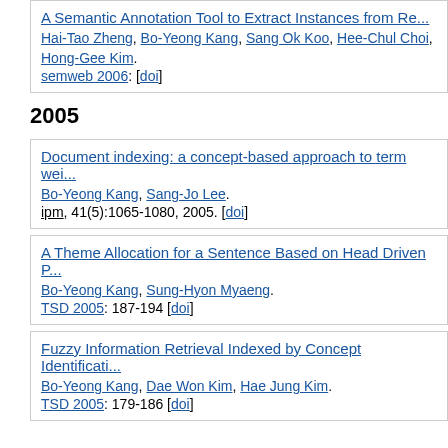A Semantic Annotation Tool to Extract Instances from Re... Hai-Tao Zheng, Bo-Yeong Kang, Sang Ok Koo, Hee-Chul Choi, Hong-Gee Kim. semweb 2006: [doi]
2005
Document indexing: a concept-based approach to term wei... Bo-Yeong Kang, Sang-Jo Lee. ipm, 41(5):1065-1080, 2005. [doi]
A Theme Allocation for a Sentence Based on Head Driven P... Bo-Yeong Kang, Sung-Hyon Myaeng. TSD 2005: 187-194 [doi]
Fuzzy Information Retrieval Indexed by Concept Identificati... Bo-Yeong Kang, Dae Won Kim, Hae Jung Kim. TSD 2005: 179-186 [doi]